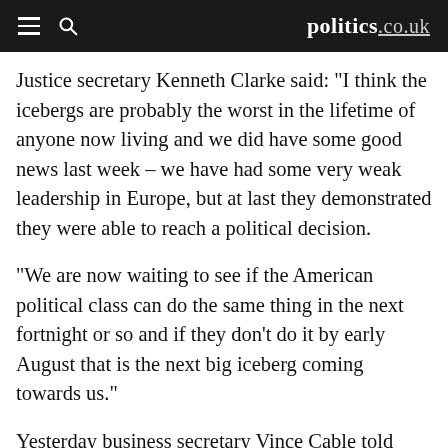politics.co.uk
Justice secretary Kenneth Clarke said: "I think the icebergs are probably the worst in the lifetime of anyone now living and we did have some good news last week – we have had some very weak leadership in Europe, but at last they demonstrated they were able to reach a political decision.
"We are now waiting to see if the American political class can do the same thing in the next fortnight or so and if they don't do it by early August that is the next big iceberg coming towards us."
Yesterday business secretary Vince Cable told BBC1's The Andrew Marr Show: "The irony of